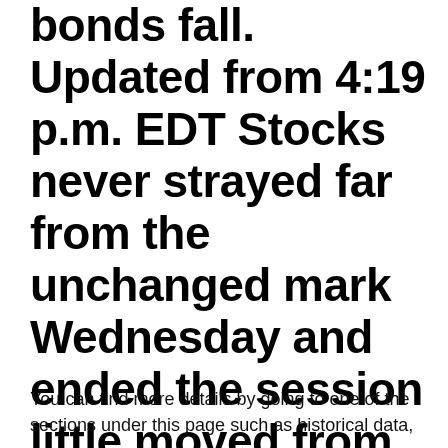bonds fall. Updated from 4:19 p.m. EDT Stocks never strayed far from the unchanged mark Wednesday and ended the session little moved from where they went out last time. After zigzagging betw
You can find more details by going to one of the sections under this page such as historical data,